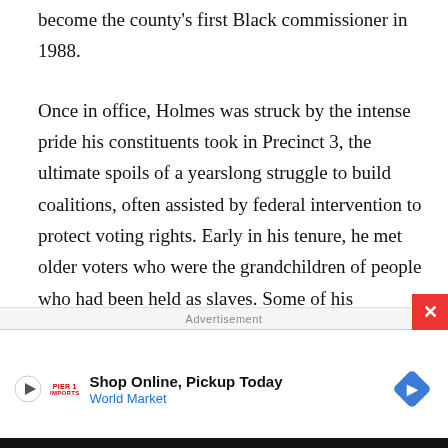become the county's first Black commissioner in 1988.
Once in office, Holmes was struck by the intense pride his constituents took in Precinct 3, the ultimate spoils of a yearslong struggle to build coalitions, often assisted by federal intervention to protect voting rights. Early in his tenure, he met older voters who were the grandchildren of people who had been held as slaves. Some of his constituents had participated in sit-ins, paid poll taxes, attended segregated schools and lived through a long stretch during which their voices were shut out at the highest level of local government.
[Figure (other): Advertisement banner at bottom of page showing 'Shop Online, Pickup Today' for World Market with a red play button, World Market logo, and a blue diamond-shaped map pin icon. A red close button with an X appears in the upper right corner. The label 'Advertisement' appears above the ad bar.]